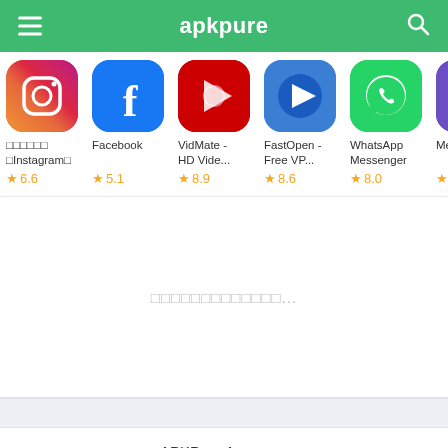apkpure
[Figure (screenshot): Row of app icons: Instagram, Facebook, VidMate - HD Vide..., FastOpen - Free VP..., WhatsApp Messenger, Messen...]
□□□□□□ □Instagram□
Facebook
VidMate - HD Vide...
FastOpen - Free VP...
WhatsApp Messenger
Messen
★ 6.6
★ 5.1
★ 8.9
★ 8.6
★ 8.0
★ 7.7
□□□□□□□□□□□□□...
APKPure App□□□□
APK□□□□□□□□□□□□□□
Free Online Games